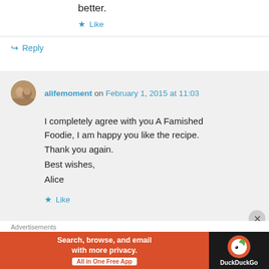better.
★ Like
↪ Reply
alifemoment on February 1, 2015 at 11:03
I completely agree with you A Famished Foodie, I am happy you like the recipe. Thank you again.
Best wishes,
Alice
★ Like
Advertisements
[Figure (screenshot): DuckDuckGo advertisement banner: 'Search, browse, and email with more privacy. All in One Free App' with DuckDuckGo logo on dark background]